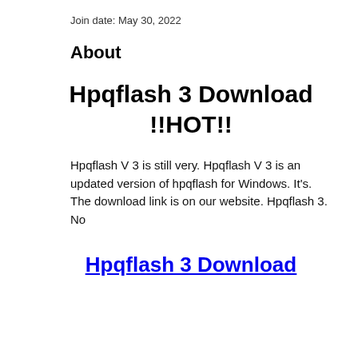Join date: May 30, 2022
About
Hpqflash 3 Download !!HOT!!
Hpqflash V 3 is still very. Hpqflash V 3 is an updated version of hpqflash for Windows. It's. The download link is on our website. Hpqflash 3. No
Hpqflash 3 Download